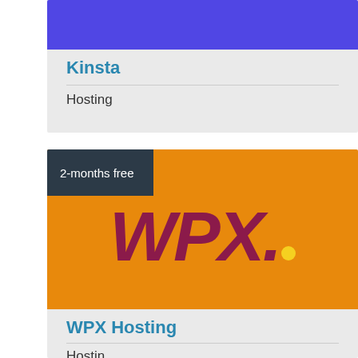[Figure (screenshot): Kinsta card with purple banner at top, light gray background, showing title 'Kinsta' in blue and category 'Hosting']
Kinsta
Hosting
[Figure (screenshot): WPX Hosting card with orange banner, dark gray '2-months free' tab in top-left, large 'WPX.' logo in dark red/maroon with yellow dot, light gray background showing 'WPX Hosting' title and 'Hosting' category]
WPX Hosting
Hosting